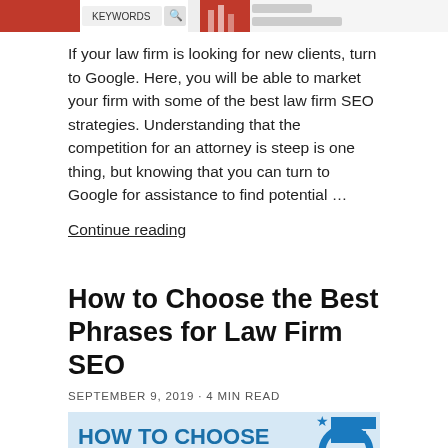[Figure (screenshot): Top banner image showing a keyword search interface with red and chart elements, partially cropped]
If your law firm is looking for new clients, turn to Google. Here, you will be able to market your firm with some of the best law firm SEO strategies. Understanding that the competition for an attorney is steep is one thing, but knowing that you can turn to Google for assistance to find potential …
Continue reading
How to Choose the Best Phrases for Law Firm SEO
SEPTEMBER 9, 2019 · 4 min read
[Figure (infographic): Blue infographic banner reading HOW TO CHOOSE THE BEST PHRASES FOR with bar chart and magnifying glass graphics]